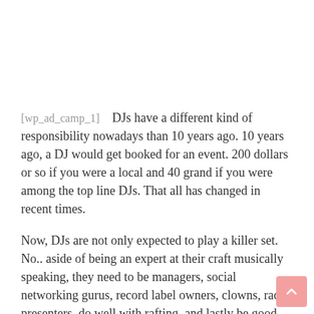[wp_ad_camp_1]    DJs have a different kind of responsibility nowadays than 10 years ago. 10 years ago, a DJ would get booked for an event. 200 dollars or so if you were a local and 40 grand if you were among the top line DJs. That all has changed in recent times.
Now, DJs are not only expected to play a killer set. No.. aside of being an expert at their craft musically speaking, they need to be managers, social networking gurus, record label owners, clowns, radio presenters, do well with rafting, and lastly be good cake bakers among other things.